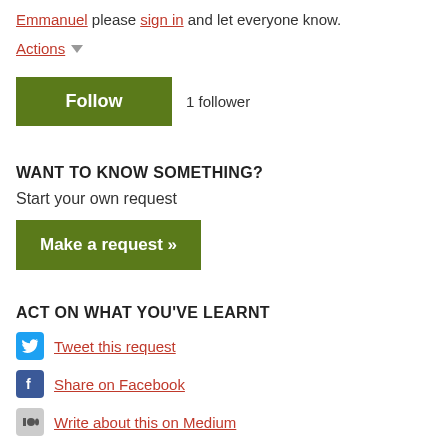Emmanuel please sign in and let everyone know.
Actions ▾
Follow  1 follower
WANT TO KNOW SOMETHING?
Start your own request
Make a request »
ACT ON WHAT YOU'VE LEARNT
Tweet this request
Share on Facebook
Write about this on Medium